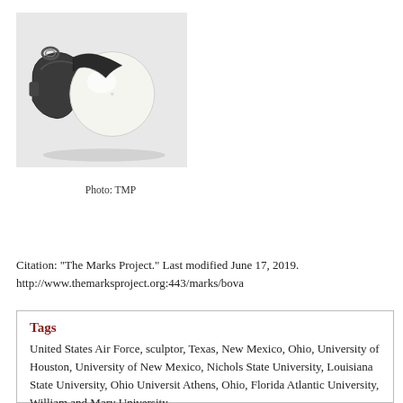[Figure (photo): A black and white whistle-shaped ceramic or metal object on a light background, photographed from the side.]
Photo: TMP
Citation: "The Marks Project." Last modified June 17, 2019. http://www.themarksproject.org:443/marks/bova
Tags
United States Air Force, sculptor, Texas, New Mexico, Ohio, University of Houston, University of New Mexico, Nichols State University, Louisiana State University, Ohio University Athens, Ohio, Florida Atlantic University, William and Mary University